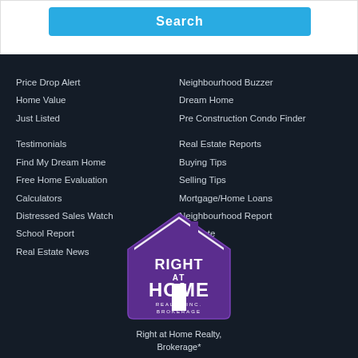Search
Price Drop Alert
Home Value
Just Listed
Testimonials
Find My Dream Home
Free Home Evaluation
Calculators
Distressed Sales Watch
School Report
Real Estate News
Neighbourhood Buzzer
Dream Home
Pre Construction Condo Finder
Real Estate Reports
Buying Tips
Selling Tips
Mortgage/Home Loans
Neighbourhood Report
Relocate
[Figure (logo): Right at Home Realty Inc Brokerage logo - purple house shape with white text]
Right at Home Realty, Brokerage*